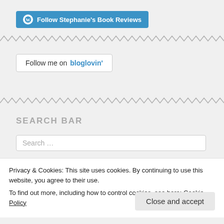[Figure (other): WordPress Follow button: teal/blue rounded button with WordPress icon and text 'Follow Stephanie's Book Reviews']
[Figure (other): Zigzag wavy line divider, gray color]
[Figure (other): Bloglovin follow button: white rounded rectangle border button with text 'Follow me on bloglovin']
[Figure (other): Second zigzag wavy line divider, gray color]
SEARCH BAR
Search …
Privacy & Cookies: This site uses cookies. By continuing to use this website, you agree to their use.
To find out more, including how to control cookies, see here: Cookie Policy
Close and accept